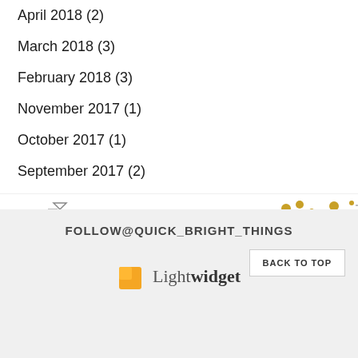April 2018 (2)
March 2018 (3)
February 2018 (3)
November 2017 (1)
October 2017 (1)
September 2017 (2)
[Figure (illustration): Decorative banner with small golden dots and arrow/chevron shapes]
FOLLOW@QUICK_BRIGHT_THINGS
BACK TO TOP
[Figure (logo): Lightwidget logo with orange square icon and text 'Lightwidget']